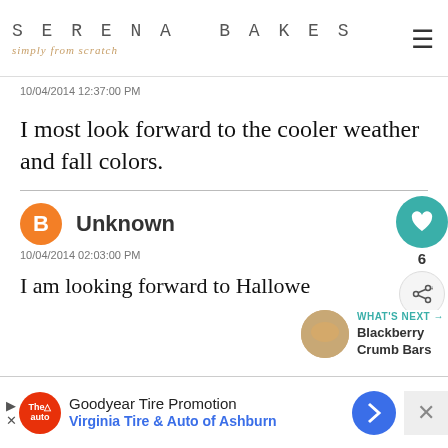SERENA BAKES simply from scratch
10/04/2014 12:37:00 PM
I most look forward to the cooler weather and fall colors.
Unknown
10/04/2014 02:03:00 PM
I am looking forward to Hallowe
[Figure (screenshot): What's Next widget showing Blackberry Crumb Bars with thumbnail]
Goodyear Tire Promotion Virginia Tire & Auto of Ashburn